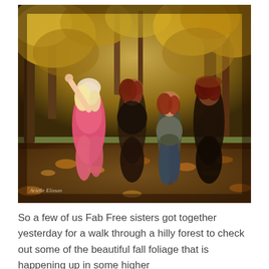[Figure (illustration): Digital artwork (Second Life style) showing four female avatars posing together in an autumn forest setting with golden-orange foliage. The leftmost figure wears a pink jumpsuit and raises one arm. Behind her are two taller figures in dark outfits. A shorter figure in a grey jacket, crop top, and jeans stands in the center-front. A watermark signature reads 'Arielle Elissan' in the lower-left corner.]
So a few of us Fab Free sisters got together yesterday for a walk through a hilly forest to check out some of the beautiful fall foliage that is happening up in some higher